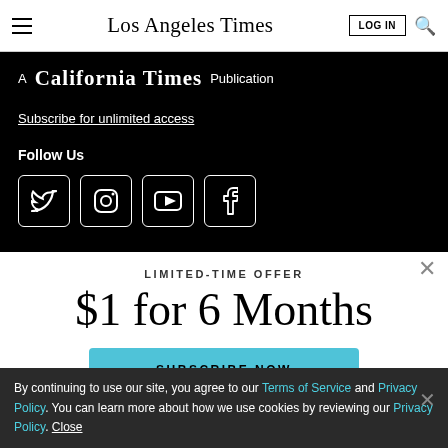Los Angeles Times
A California Times Publication
Subscribe for unlimited access
Follow Us
[Figure (other): Social media icons: Twitter, Instagram, YouTube, Facebook in white bordered rounded squares on black background]
LIMITED-TIME OFFER
$1 for 6 Months
SUBSCRIBE NOW
By continuing to use our site, you agree to our Terms of Service and Privacy Policy. You can learn more about how we use cookies by reviewing our Privacy Policy. Close